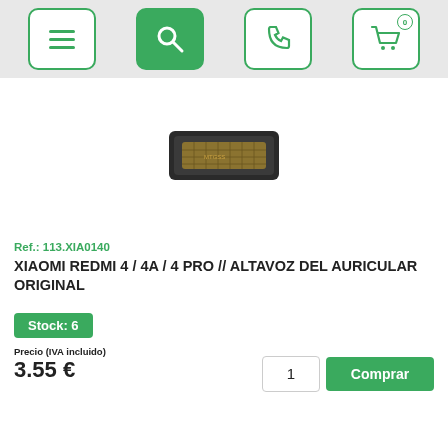Navigation bar with menu, search, phone, and cart icons
[Figure (photo): Small rectangular earpiece speaker component for Xiaomi Redmi phone, dark colored with gold contacts visible]
Ref.: 113.XIA0140
XIAOMI REDMI 4 / 4A / 4 PRO // ALTAVOZ DEL AURICULAR ORIGINAL
Stock: 6
Precio (IVA incluido)
1
Comprar